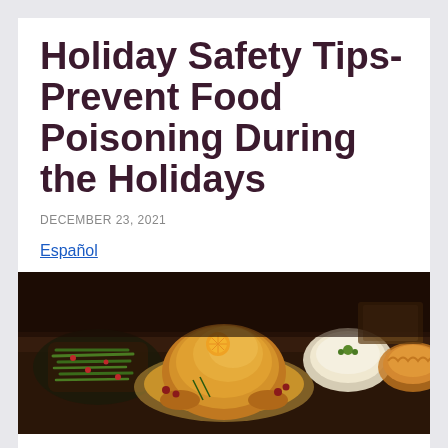Holiday Safety Tips- Prevent Food Poisoning During the Holidays
DECEMBER 23, 2021
Español
[Figure (photo): Overhead shot of a holiday feast featuring a golden roasted turkey on a platter with orange slices, surrounded by green bean dishes, mashed potatoes, pie, and other holiday side dishes on a dark wooden table.]